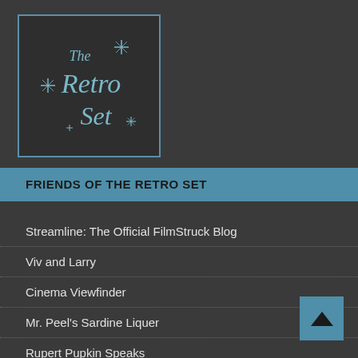[Figure (logo): The Retro Set logo — dark background with teal/blue stylized text reading 'The Retro Set' with decorative star/asterisk shapes, framed by a teal border]
FRIENDS OF THE RETRO SET
Streamline: The Official FilmStruck Blog
Viv and Larry
Cinema Viewfinder
Mr. Peel's Sardine Liquer
Rupert Pupkin Speaks
The Kind of Face You Hate
Some Came Running